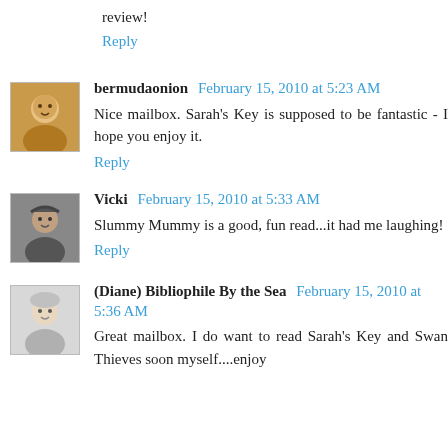review!
Reply
bermudaonion February 15, 2010 at 5:23 AM
Nice mailbox. Sarah's Key is supposed to be fantastic - I hope you enjoy it.
Reply
Vicki February 15, 2010 at 5:33 AM
Slummy Mummy is a good, fun read...it had me laughing!
Reply
(Diane) Bibliophile By the Sea February 15, 2010 at 5:36 AM
Great mailbox. I do want to read Sarah's Key and Swan Thieves soon myself....enjoy